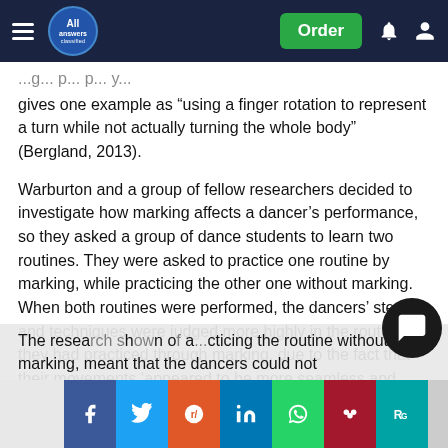All Answers Classified — navigation bar with Order button
gives one example as “using a finger rotation to represent a turn while not actually turning the whole body” (Bergland, 2013).
Warburton and a group of fellow researchers decided to investigate how marking affects a dancer’s performance, so they asked a group of dance students to learn two routines. They were asked to practice one routine by marking, while practicing the other one without marking. When both routines were performed, the dancers’ steps and techniques were judged more highly in the routine they had practiced through marking, due to the fact that their movements ‘appeared to be more seamless and sequences more fluid’ (Bergland, 2013).
The resea... s... h... o... a... cticing the routine without marking, meant that the dancers could not